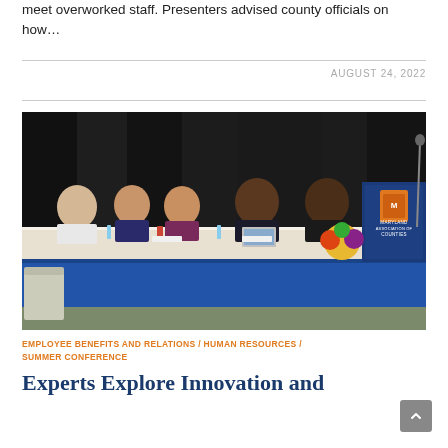meet overworked staff. Presenters advised county officials on how...
AUGUST 24, 2022
[Figure (photo): Panel of five people seated at a long table with blue skirting at what appears to be a Maryland Association of Counties conference session. A Maryland Counties sign is visible at the right end of the table.]
EMPLOYEE BENEFITS AND RELATIONS / HUMAN RESOURCES / SUMMER CONFERENCE
Experts Explore Innovation and